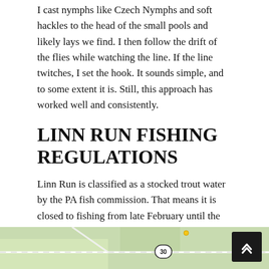I cast nymphs like Czech Nymphs and soft hackles to the head of the small pools and likely lays we find. I then follow the drift of the flies while watching the line. If the line twitches, I set the hook. It sounds simple, and to some extent it is. Still, this approach has worked well and consistently.
LINN RUN FISHING REGULATIONS
Linn Run is classified as a stocked trout water by the PA fish commission. That means it is closed to fishing from late February until the trout opener in early April. Species of fish other than trout in Linn Run fall under general regulations. But no angling of any kind is allowed in Linn Run during the closure in the run up to trout season.
[Figure (map): A map showing Linn Run area with green terrain, roads, and route 30 marker.]